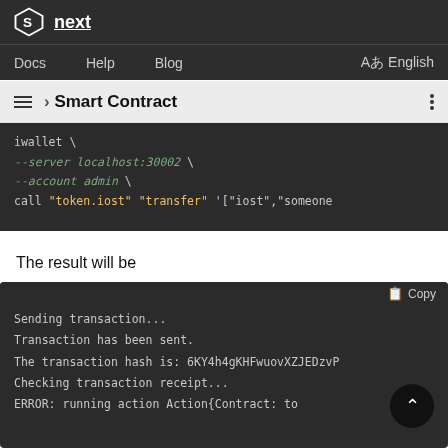next — Docs  Help  Blog  Aあ English
› Smart Contract
[Figure (screenshot): Code block showing iwallet command with --server localhost:30002, --account admin, call token.iost transfer arguments]
The result will be
[Figure (screenshot): Terminal output showing: Sending transaction... / Transaction has been sent. / The transaction hash is: 6KY4h4gKHFwuovXZJEDzvP / Checking transaction receipt... / ERROR: running action Action{Contract: to...]